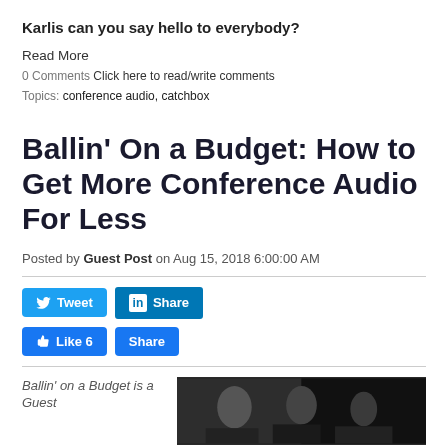Karlis can you say hello to everybody?
Read More
0 Comments Click here to read/write comments
Topics: conference audio, catchbox
Ballin’ On a Budget: How to Get More Conference Audio For Less
Posted by Guest Post on Aug 15, 2018 6:00:00 AM
Tweet  Share  Like 6  Share
Ballin’ on a Budget is a Guest
[Figure (photo): Photo of people at a conference or event, dark background]